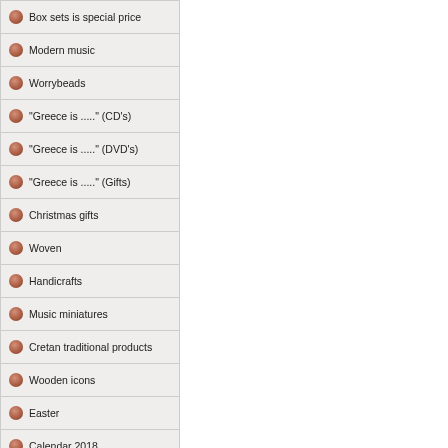Box sets is special price
Modern music
Worrybeads
"Greece is ....." (CD's)
"Greece is ....." (DVD's)
"Greece is ....." (Gifts)
Christmas gifts
Woven
Handicrafts
Music miniatures
Cretan traditional products
Wooden icons
Easter
Calendar 2018
Christmas
Labels
GROUPSOUND
Credit cards/paypal